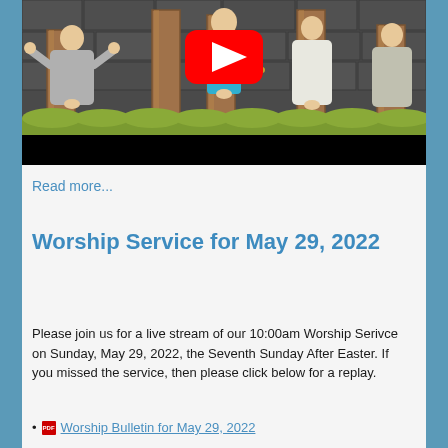[Figure (illustration): Cartoon/animated illustration showing Biblical figures on wooden posts with a YouTube play button overlay, green grass at bottom, dark stone wall background, black bar at bottom of image]
Read more...
Worship Service for May 29, 2022
Please join us for a live stream of our 10:00am Worship Serivce on Sunday, May 29, 2022, the Seventh Sunday After Easter. If you missed the service, then please click below for a replay.
Worship Bulletin for May 29, 2022